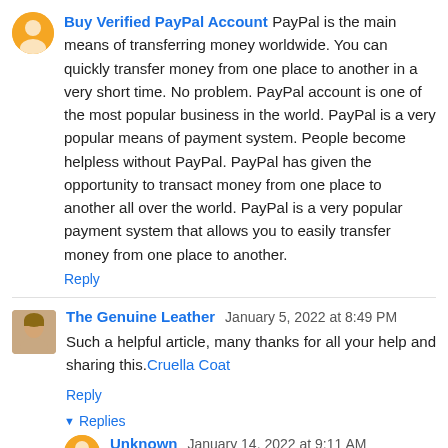Buy Verified PayPal Account PayPal is the main means of transferring money worldwide. You can quickly transfer money from one place to another in a very short time. No problem. PayPal account is one of the most popular business in the world. PayPal is a very popular means of payment system. People become helpless without PayPal. PayPal has given the opportunity to transact money from one place to another all over the world. PayPal is a very popular payment system that allows you to easily transfer money from one place to another.
Reply
The Genuine Leather January 5, 2022 at 8:49 PM
Such a helpful article, many thanks for all your help and sharing this. Cruella Coat
Reply
Replies
Unknown January 14, 2022 at 9:11 AM